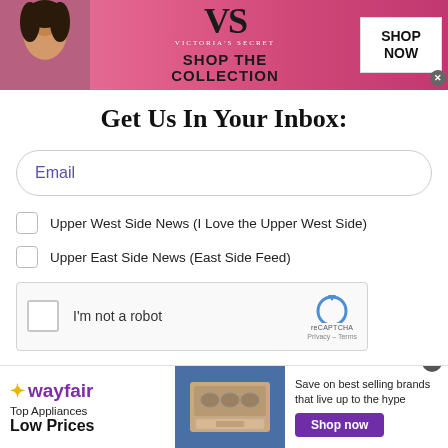[Figure (other): Victoria's Secret advertisement banner with pink background, model photo, VS logo, 'SHOP THE COLLECTION' text, and 'SHOP NOW' button]
Get Us In Your Inbox:
Email
Upper West Side News (I Love the Upper West Side)
Upper East Side News (East Side Feed)
[Figure (other): reCAPTCHA widget with checkbox, 'I'm not a robot' label, reCAPTCHA logo, Privacy and Terms links]
[Figure (other): Wayfair advertisement banner with logo, 'Top Appliances Low Prices' text, appliance image, 'Save on best selling brands that live up to the hype' text, and purple 'Shop now' button]